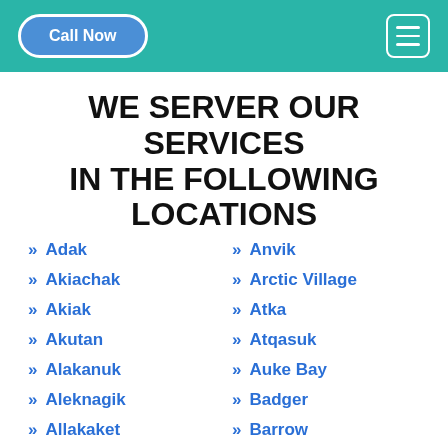Call Now
WE SERVER OUR SERVICES IN THE FOLLOWING LOCATIONS
Adak
Akiachak
Akiak
Akutan
Alakanuk
Aleknagik
Allakaket
Anaktuvuk Pass
Anchor Point
Anvik
Arctic Village
Atka
Atqasuk
Auke Bay
Badger
Barrow
Bettles Field
Brevig Mission